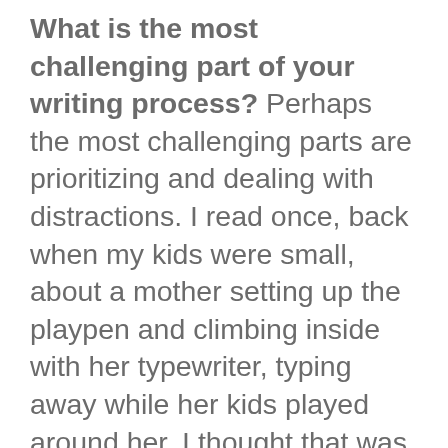What is the most challenging part of your writing process? Perhaps the most challenging parts are prioritizing and dealing with distractions. I read once, back when my kids were small, about a mother setting up the playpen and climbing inside with her typewriter, typing away while her kids played around her. I thought that was brilliant! Today, when I'm at the ranch headquarters, my son and his family in their own house on the same property, interruptions are constant — my sisters and mother will tell you